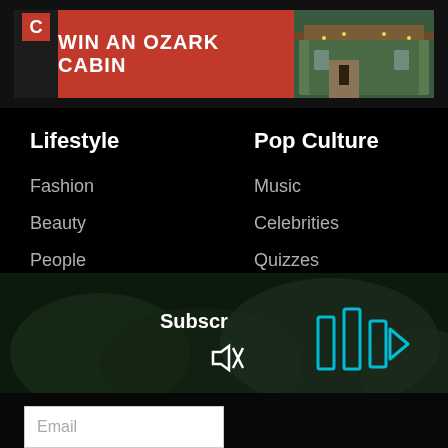[Figure (screenshot): Banner advertisement: red button with text 'WIN AN OZARK CABIN' next to a photo of a cabin with lights, with a logo icon at left on dark background]
Lifestyle
Pop Culture
Fashion
Music
Beauty
Celebrities
People
Quizzes
Weddings
Netflix
Home
Movies
Family
Health
Travel
Subscr
[Figure (screenshot): Muted video icon (speaker with X) in white on dark background]
[Figure (screenshot): Blue play/forward arrows icon on dark video background]
Email